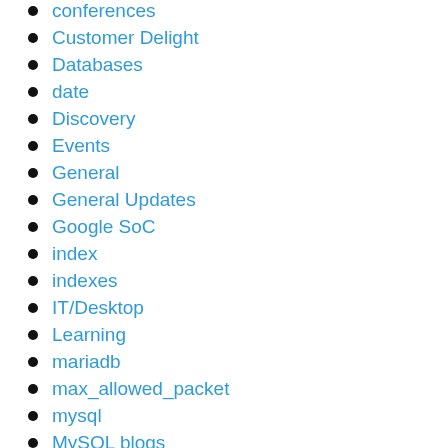conferences
Customer Delight
Databases
date
Discovery
Events
General
General Updates
Google SoC
index
indexes
IT/Desktop
Learning
mariadb
max_allowed_packet
mysql
MySQL blogs